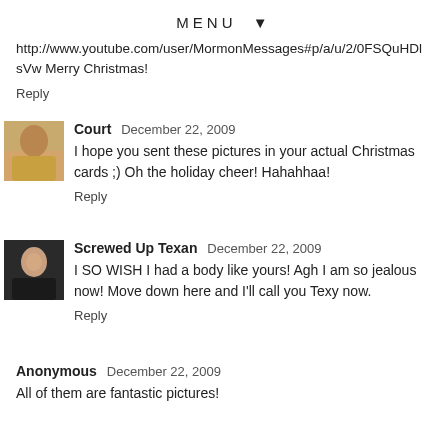MENU ▼
http://www.youtube.com/user/MormonMessages#p/a/u/2/0FSQuHDl sVw Merry Christmas!
Reply
Court  December 22, 2009
I hope you sent these pictures in your actual Christmas cards ;) Oh the holiday cheer! Hahahhaa!
Reply
Screwed Up Texan  December 22, 2009
I SO WISH I had a body like yours! Agh I am so jealous now! Move down here and I'll call you Texy now.
Reply
Anonymous  December 22, 2009
All of them are fantastic pictures!